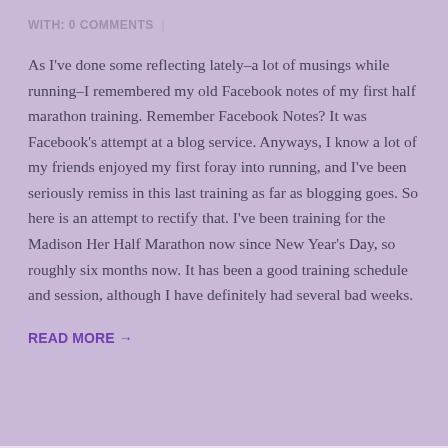WITH: 0 COMMENTS |
As I've done some reflecting lately–a lot of musings while running–I remembered my old Facebook notes of my first half marathon training.  Remember Facebook Notes?  It was Facebook's attempt at a blog service.  Anyways, I know a lot of my friends enjoyed my first foray into running, and I've been seriously remiss in this last training as far as blogging goes.  So here is an attempt to rectify that. I've been training for the Madison Her Half Marathon now since New Year's Day, so roughly six months now.  It has been a good training schedule and session, although I have definitely had several bad weeks.
READ MORE →